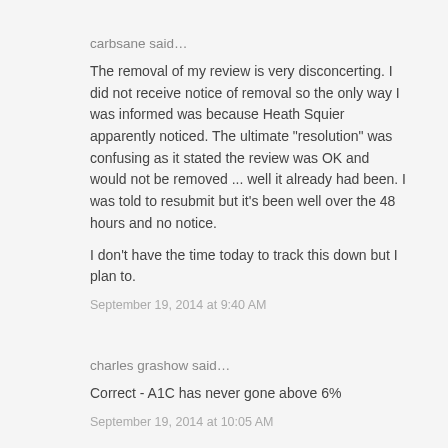carbsane said…
The removal of my review is very disconcerting. I did not receive notice of removal so the only way I was informed was because Heath Squier apparently noticed. The ultimate "resolution" was confusing as it stated the review was OK and would not be removed ... well it already had been. I was told to resubmit but it's been well over the 48 hours and no notice.
I don't have the time today to track this down but I plan to.
September 19, 2014 at 9:40 AM
charles grashow said…
Correct - A1C has never gone above 6%
September 19, 2014 at 10:05 AM